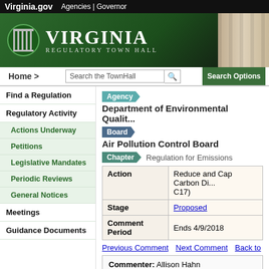Virginia.gov   Agencies | Governor
[Figure (logo): Virginia Regulatory Town Hall banner with state logo showing columns and green background]
Home >   Search the TownHall   Search Options
Find a Regulation
Regulatory Activity
Actions Underway
Petitions
Legislative Mandates
Periodic Reviews
General Notices
Meetings
Guidance Documents
Agency
Department of Environmental Quality
Board
Air Pollution Control Board
Chapter
Regulation for Emissions
| Action | Stage | Comment Period |
| --- | --- | --- |
| Reduce and Cap Carbon Di... C17) | Proposed | Ends 4/9/2018 |
Previous Comment   Next Comment   Back to
Commenter: Allison Hahn
Support carbon reductions for Virginia